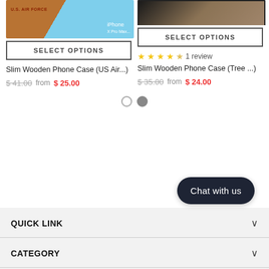[Figure (photo): Slim wooden phone case with U.S. Air Force design, brown wood texture on left and ocean/blue iPhone display on right]
SELECT OPTIONS
[Figure (photo): Slim wooden phone case with tree/nature design, dark wood and tree trunk texture]
SELECT OPTIONS
1 review (star rating: 4 out of 5)
Slim Wooden Phone Case (US Air...
$ 41.00  from  $ 25.00
Slim Wooden Phone Case (Tree ...
$ 35.00  from  $ 24.00
QUICK LINK
CATEGORY
Chat with us